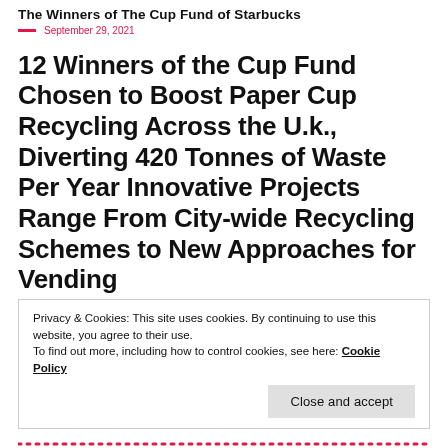The Winners of The Cup Fund of Starbucks
September 29, 2021
12 Winners of the Cup Fund Chosen to Boost Paper Cup Recycling Across the U.k., Diverting 420 Tonnes of Waste Per Year Innovative Projects Range From City-wide Recycling Schemes to New Approaches for Vending
Privacy & Cookies: This site uses cookies. By continuing to use this website, you agree to their use.
To find out more, including how to control cookies, see here: Cookie Policy
Close and accept
Starbucks and environmental charity, Hubbub,